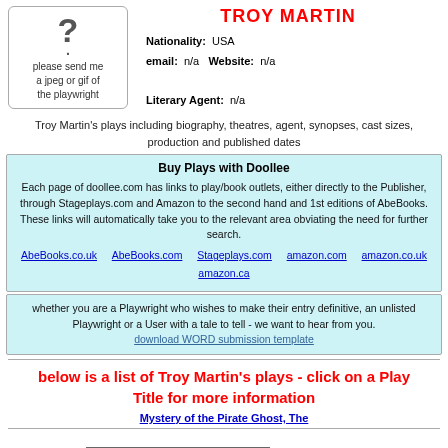[Figure (illustration): Placeholder image box with question mark and text 'please send me a jpeg or gif of the playwright']
TROY MARTIN
Nationality: USA
email: n/a  Website: n/a
Literary Agent: n/a
Troy Martin's plays including biography, theatres, agent, synopses, cast sizes, production and published dates
Buy Plays with Doollee
Each page of doollee.com has links to play/book outlets, either directly to the Publisher, through Stageplays.com and Amazon to the second hand and 1st editions of AbeBooks. These links will automatically take you to the relevant area obviating the need for further search.
AbeBooks.co.uk  AbeBooks.com  Stageplays.com  amazon.com  amazon.co.uk  amazon.ca
whether you are a Playwright who wishes to make their entry definitive, an unlisted Playwright or a User with a tale to tell - we want to hear from you.
download WORD submission template
below is a list of Troy Martin's plays - click on a Play Title for more information
Mystery of the Pirate Ghost, The
Mystery of the Pirate Ghost, The